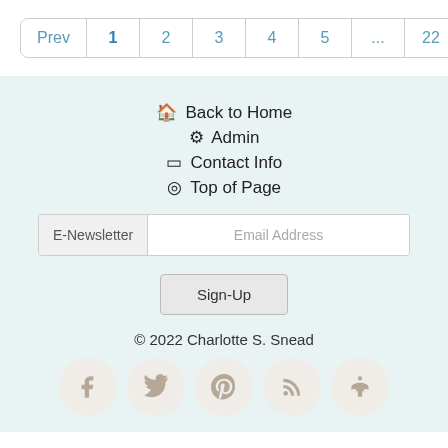Prev | 1 | 2 | 3 | 4 | 5 | ... | 22 | Next
Back to Home
Admin
Contact Info
Top of Page
E-Newsletter   Email Address
Sign-Up
© 2022  Charlotte S. Snead